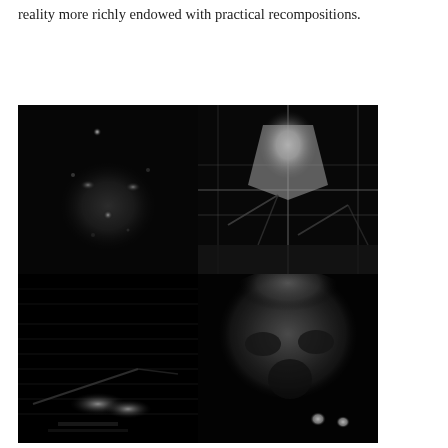reality more richly endowed with practical recompositions.
[Figure (photo): A 2×2 grid of four black-and-white photographs. Top-left: a dark, grainy image resembling a blurry face or figure with a bright light spot at top and scattered light points. Top-right: a black-and-white image of an object caught on a wire fence or barbed wire against a dark background. Bottom-left: a dark sonar or radar-like image with faint horizontal scan lines and a small bright object. Bottom-right: a grainy black-and-white close-up of what appears to be a face or textured surface with bright spots at bottom right.]